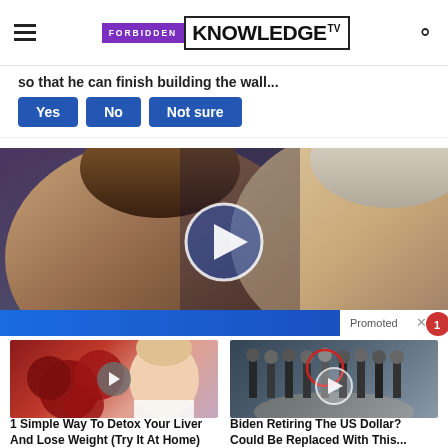Forbidden Knowledge TV
...so that he can finish building the wall... Yes / No / Not sure
[Figure (photo): Video thumbnail showing two people (a woman with brown hair on the left and a man with white/grey hair on the right) with a large play button circle overlay and a blue bar at the bottom. A 'Promoted X' badge appears at the bottom right.]
[Figure (photo): Thumbnail image of red berries/liver organ and a woman in white lab coat, with play button overlay. Ad card for '1 Simple Way To Detox Your Liver And Lose Weight (Try It At Home)']
1 Simple Way To Detox Your Liver And Lose Weight (Try It At Home)
Watch The Video
[Figure (photo): Thumbnail image of men in suits standing at CIA lobby, with play button overlay and red circle highlighting one person. Ad card for 'Biden Retiring The US Dollar? Could Be Replaced With This...']
Biden Retiring The US Dollar? Could Be Replaced With This...
Watch The Video